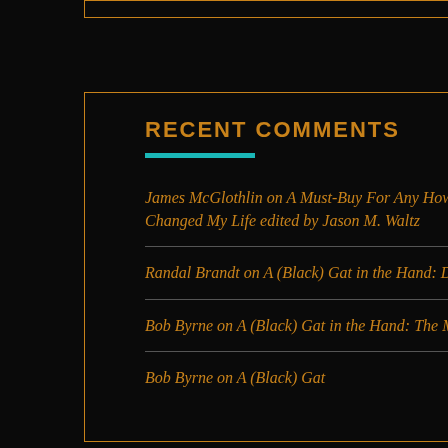RECENT COMMENTS
James McGlothlin on A Must-Buy For Any Howard Fan: Robert E. Howard Changed My Life edited by Jason M. Waltz
Randal Brandt on A (Black) Gat in the Hand: David Dodge
Bob Byrne on A (Black) Gat in the Hand: The Murdering Spinsters
Bob Byrne on A (Black) Gat